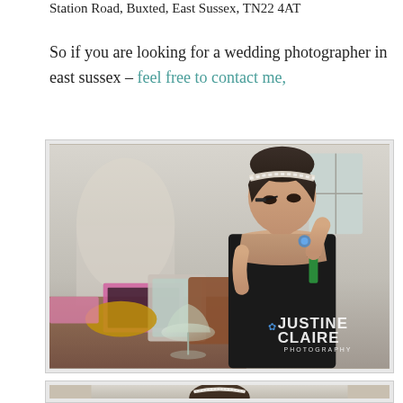Station Road, Buxted, East Sussex, TN22 4AT
So if you are looking for a wedding photographer in east sussex – feel free to contact me,
[Figure (photo): A woman with a sparkly headband and dark hair in an updo applying mascara in front of a mirror. She is wearing a black top. The room has beauty products, a champagne glass, and accessories scattered around. A Justine Claire Photography watermark is in the lower right corner.]
[Figure (photo): Partial view of a second photograph showing the back of a woman's head with a white lace headpiece, brown updo hairstyle, in a bright room.]